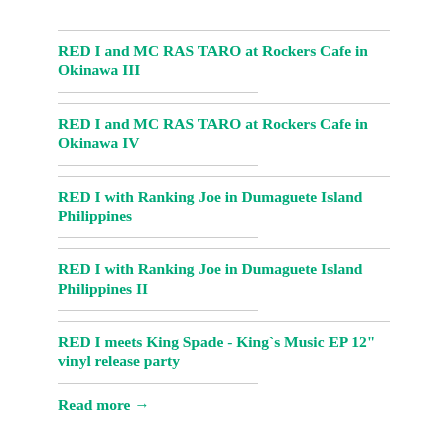RED I and MC RAS TARO at Rockers Cafe in Okinawa III
RED I and MC RAS TARO at Rockers Cafe in Okinawa IV
RED I with Ranking Joe in Dumaguete Island Philippines
RED I with Ranking Joe in Dumaguete Island Philippines II
RED I meets King Spade - King`s Music EP 12" vinyl release party
Read more →